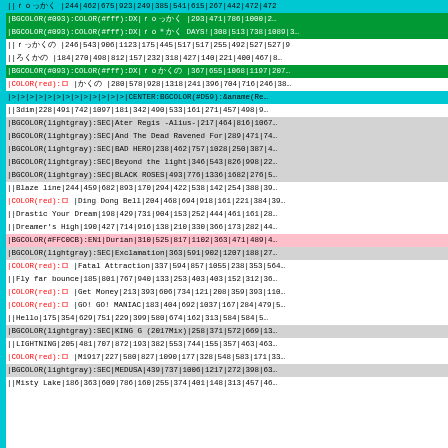| ||ｒｏっかく |244|462|675|923|249|385|541|615|267|442|472|472 |
| |BGCOLOR(#093):COLOR(#fff):DX|ｒｏっかく |293|471|786|1000|2… |
| |BGCOLOR(#093):COLOR(#fff):DX|ｒｏ＊かく DAYS!|308|513|738|1089|3… |
| ||ｒっかくの |246|543|906|1123|175|445|517|517|255|492|527|527|9… |
| ||ろくかの |184|270|498|812|157|232|318|427|140|221|400|467|8… |
| |BGCOLOR(#093):COLOR(#fff):DX|ｒｏかくの |367|655|1068|1197|207… |
| |COLOR(red):ロ |かくの |280|578|928|1318|241|396|704|716|246|386… |
| |>|>|>|>|>|>|>|>|>|>|>|>|>|CENTER:BGCOLOR(#D59):&aname(Re… |
| ||3dim|228|491|742|1097|181|342|490|533|161|271|457|498|9… |
| |BGCOLOR(lightgray):SEC|Ater Regis -Alius-|217|464|816|1067… |
| |BGCOLOR(lightgray):SEC|And The Dead Ravened For|289|471|74… |
| |BGCOLOR(lightgray):SEC|BAD HERO|238|462|757|1028|250|387|4… |
| |BGCOLOR(lightgray):SEC|Beyond the light|346|543|826|998|22… |
| |BGCOLOR(lightgray):SEC|BLACK ROSES|493|776|1336|1682|276|5… |
| ||Blaze line|244|459|682|893|170|294|422|538|142|254|388|39… |
| |COLOR(red):ロ |Ding Dong Bell|204|468|694|918|161|221|384|39… |
| ||Drastic Your Dream|198|429|731|904|153|252|444|461|161|28… |
| ||Dreamer's High|190|427|714|916|138|210|330|366|173|282|44… |
| |BGCOLOR(#FFC0CB):EN1|Durian|310|525|817|1102|363|471|489|4… |
| |BGCOLOR(lightgray):SEC|Exclamation|363|591|902|1207|188|27… |
| |COLOR(red):ロ |Fatal Attraction|337|594|857|1055|238|353|564… |
| ||Fly far bounce|185|801|767|940|133|253|403|403|152|312|36… |
| |COLOR(red):ロ |Get Money|213|393|606|734|121|208|359|393|110… |
| |COLOR(red):ロ |GO! GO! MANIAC|183|404|692|1037|167|284|479|5… |
| ||Hello|175|354|629|751|229|399|580|674|162|313|584|584|5… |
| |BGCOLOR(lightgray):SEC|KING G (2017Mix)|258|371|572|669|13… |
| ||LIGHTNING|205|481|707|872|193|382|553|744|155|357|463|463… |
| |COLOR(red):ロ |M1917|227|580|827|1090|177|328|548|583|171|33… |
| |BGCOLOR(lightgray):SEC|MEDUSA|439|737|1006|1217|272|398|63… |
| ||Misty Lake|186|363|609|786|160|255|374|401|148|313|457|46… |